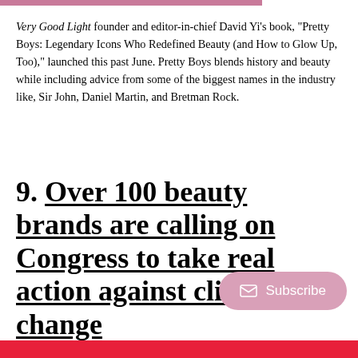Very Good Light founder and editor-in-chief David Yi's book, "Pretty Boys: Legendary Icons Who Redefined Beauty (and How to Glow Up, Too)," launched this past June. Pretty Boys blends history and beauty while including advice from some of the biggest names in the industry like, Sir John, Daniel Martin, and Bretman Rock.
9. Over 100 beauty brands are calling on Congress to take real action against climate change